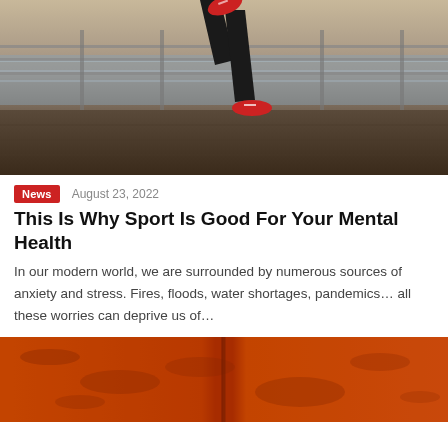[Figure (photo): Person running outdoors in black athletic wear and red shoes, viewed from the legs down, with a railing and water in background]
News   August 23, 2022
This Is Why Sport Is Good For Your Mental Health
In our modern world, we are surrounded by numerous sources of anxiety and stress. Fires, floods, water shortages, pandemics… all these worries can deprive us of…
[Figure (photo): Close-up of orange/red textured spice or powder surface]